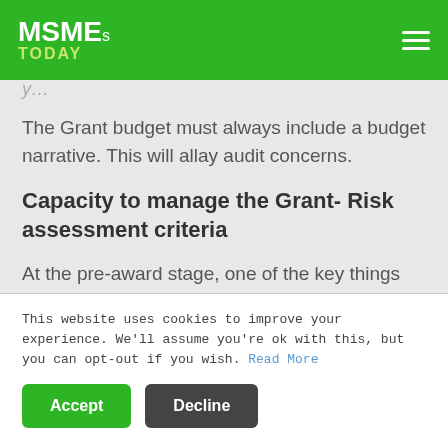MSMEs TODAY
The Grant budget must always include a budget narrative. This will allay audit concerns.
Capacity to manage the Grant- Risk assessment criteria
At the pre-award stage, one of the key things the funding agency would be interested in is the Non-
This website uses cookies to improve your experience. We'll assume you're ok with this, but you can opt-out if you wish. Read More